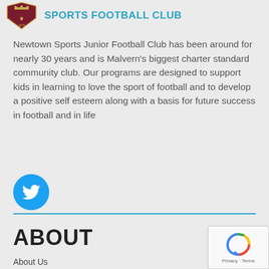[Figure (logo): Newtown Sports Football Club crest logo with crown and lions, maroon and white, dated 1979, alongside the text SPORTS FOOTBALL CLUB in teal bold uppercase]
Newtown Sports Junior Football Club has been around for nearly 30 years and is Malvern's biggest charter standard community club. Our programs are designed to support kids in learning to love the sport of football and to develop a positive self esteem along with a basis for future success in football and in life
[Figure (other): Blue circular Twitter social media button with white bird icon]
ABOUT
About Us